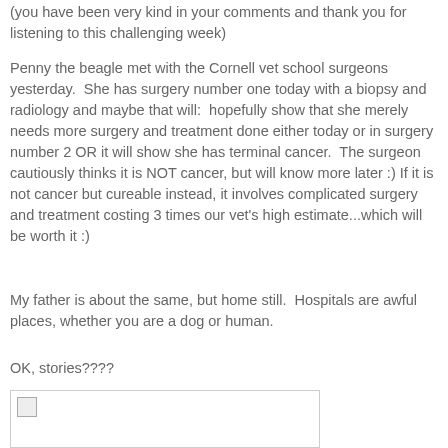(you have been very kind in your comments and thank you for listening to this challenging week)
Penny the beagle met with the Cornell vet school surgeons yesterday.  She has surgery number one today with a biopsy and radiology and maybe that will:  hopefully show that she merely needs more surgery and treatment done either today or in surgery number 2 OR it will show she has terminal cancer.  The surgeon cautiously thinks it is NOT cancer, but will know more later :) If it is not cancer but cureable instead, it involves complicated surgery and treatment costing 3 times our vet's high estimate...which will be worth it :)
My father is about the same, but home still.  Hospitals are awful places, whether you are a dog or human.
OK, stories????
[Figure (photo): A broken/missing image placeholder shown as a small icon in the top-left of a bordered white box.]